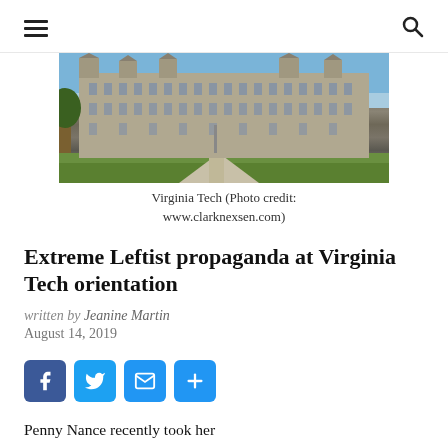Navigation menu and search icon
[Figure (photo): Exterior photo of Virginia Tech campus building, Gothic-style stone architecture with towers, green lawn in foreground, blue sky background]
Virginia Tech (Photo credit: www.clarknexsen.com)
Extreme Leftist propaganda at Virginia Tech orientation
written by Jeanine Martin
August 14, 2019
[Figure (infographic): Social sharing buttons: Facebook, Twitter, Email, Share (plus sign)]
Penny Nance recently took her